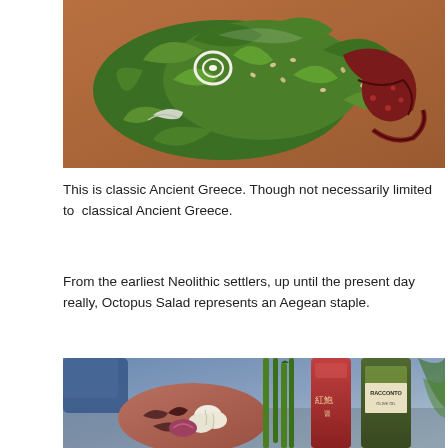[Figure (photo): Close-up overhead photo of octopus salad with green spinach leaves, mint, sliced onion rings, barley or wheat grains, and octopus tentacles on a terracotta-colored plate.]
This is classic Ancient Greece. Though not necessarily limited to  classical Ancient Greece.
From the earliest Neolithic settlers, up until the present day really, Octopus Salad represents an Aegean staple.
[Figure (photo): Photo of ingredients for octopus salad: small octopus, garlic cloves, red onion, green onions/scallions, and bottles of sauce and olive oil (Racconto brand), with spinach leaves in background.]